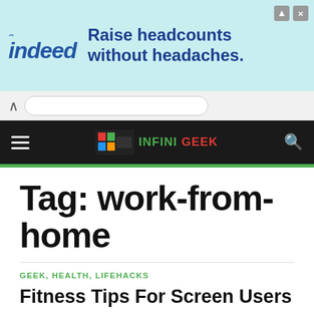[Figure (screenshot): Indeed advertisement banner: 'Raise headcounts without headaches.']
[Figure (screenshot): Browser address bar with back navigation caret]
INFINIGEEK navigation bar with hamburger menu and search icon
Tag: work-from-home
GEEK, HEALTH, LIFEHACKS
Fitness Tips For Screen Users
by INFINIGEEK